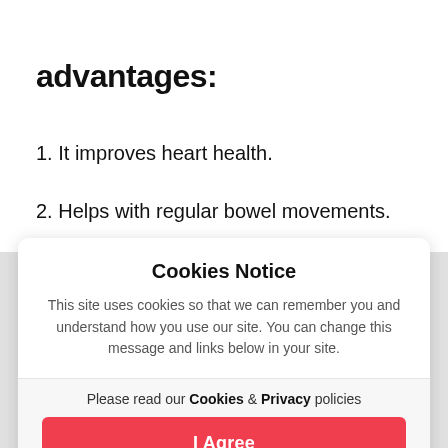advantages:
1. It improves heart health.
2. Helps with regular bowel movements.
Cookies Notice
This site uses cookies so that we can remember you and understand how you use our site. You can change this message and links below in your site.
Please read our Cookies & Privacy policies
I Agree